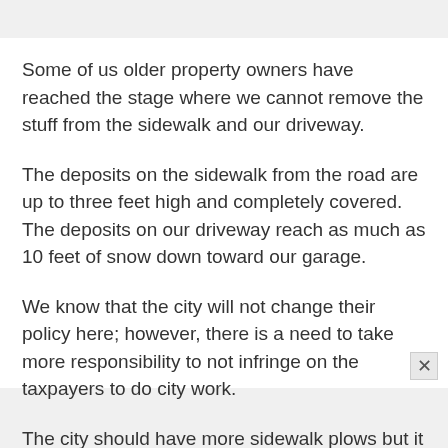Some of us older property owners have reached the stage where we cannot remove the stuff from the sidewalk and our driveway.
The deposits on the sidewalk from the road are up to three feet high and completely covered. The deposits on our driveway reach as much as 10 feet of snow down toward our garage.
We know that the city will not change their policy here; however, there is a need to take more responsibility to not infringe on the taxpayers to do city work.
The city should have more sidewalk plows but it seems the city does have the means for supplying these